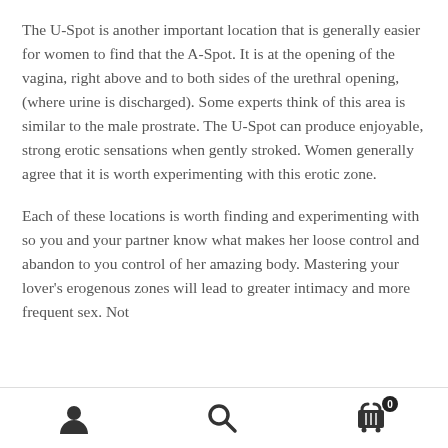The U-Spot is another important location that is generally easier for women to find that the A-Spot. It is at the opening of the vagina, right above and to both sides of the urethral opening, (where urine is discharged). Some experts think of this area is similar to the male prostrate. The U-Spot can produce enjoyable, strong erotic sensations when gently stroked. Women generally agree that it is worth experimenting with this erotic zone.
Each of these locations is worth finding and experimenting with so you and your partner know what makes her loose control and abandon to you control of her amazing body. Mastering your lover's erogenous zones will lead to greater intimacy and more frequent sex. Not
[user icon] [search icon] [cart icon with badge 0]